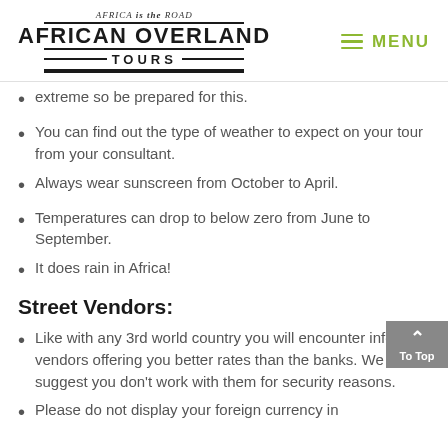Africa is the Road | AFRICAN OVERLAND TOURS | MENU
extreme so be prepared for this.
You can find out the type of weather to expect on your tour from your consultant.
Always wear sunscreen from October to April.
Temperatures can drop to below zero from June to September.
It does rain in Africa!
Street Vendors:
Like with any 3rd world country you will encounter informal vendors offering you better rates than the banks. We suggest you don't work with them for security reasons.
Please do not display your foreign currency in